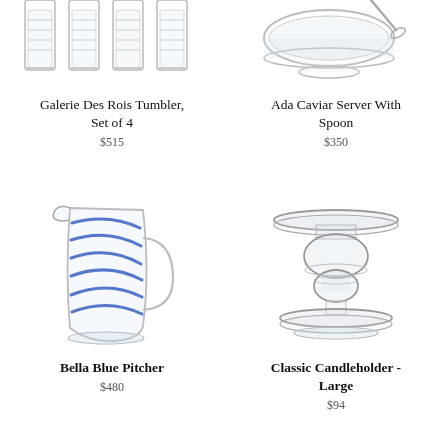[Figure (photo): Galerie Des Rois Tumbler set of 4 crystal glasses, partially cropped at top]
Galerie Des Rois Tumbler, Set of 4
$515
[Figure (photo): Ada Caviar Server With Spoon, glass dish with spoon, partially cropped at top]
Ada Caviar Server With Spoon
$350
[Figure (photo): Bella Blue Pitcher, clear glass pitcher with blue swirl pattern]
Bella Blue Pitcher
$480
[Figure (photo): Classic Candleholder Large, clear glass pedestal candleholder]
Classic Candleholder - Large
$94